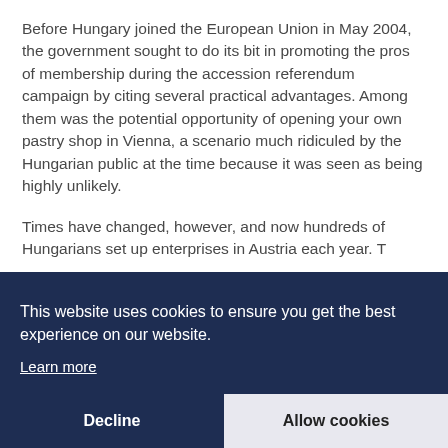Before Hungary joined the European Union in May 2004, the government sought to do its bit in promoting the pros of membership during the accession referendum campaign by citing several practical advantages. Among them was the potential opportunity of opening your own pastry shop in Vienna, a scenario much ridiculed by the Hungarian public at the time because it was seen as being highly unlikely.
Times have changed, however, and now hundreds of Hungarians set up enterprises in Austria each year. T... re... in... e... s... p... ta... with hands-on experience of the Austrian market.
This website uses cookies to ensure you get the best experience on our website. Learn more